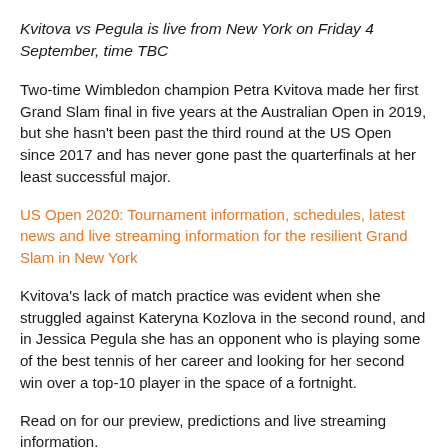Kvitova vs Pegula is live from New York on Friday 4 September, time TBC
Two-time Wimbledon champion Petra Kvitova made her first Grand Slam final in five years at the Australian Open in 2019, but she hasn't been past the third round at the US Open since 2017 and has never gone past the quarterfinals at her least successful major.
US Open 2020: Tournament information, schedules, latest news and live streaming information for the resilient Grand Slam in New York
Kvitova's lack of match practice was evident when she struggled against Kateryna Kozlova in the second round, and in Jessica Pegula she has an opponent who is playing some of the best tennis of her career and looking for her second win over a top-10 player in the space of a fortnight.
Read on for our preview, predictions and live streaming information.